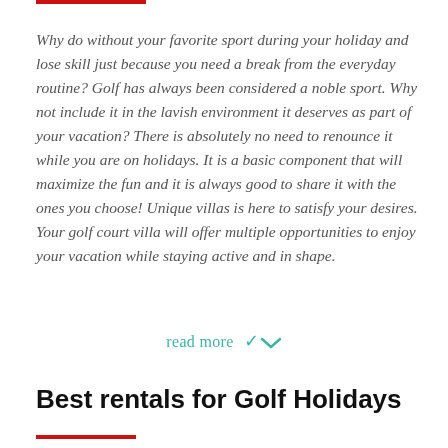Why do without your favorite sport during your holiday and lose skill just because you need a break from the everyday routine? Golf has always been considered a noble sport. Why not include it in the lavish environment it deserves as part of your vacation? There is absolutely no need to renounce it while you are on holidays. It is a basic component that will maximize the fun and it is always good to share it with the ones you choose! Unique villas is here to satisfy your desires. Your golf court villa will offer multiple opportunities to enjoy your vacation while staying active and in shape.
read more ∨
Best rentals for Golf Holidays